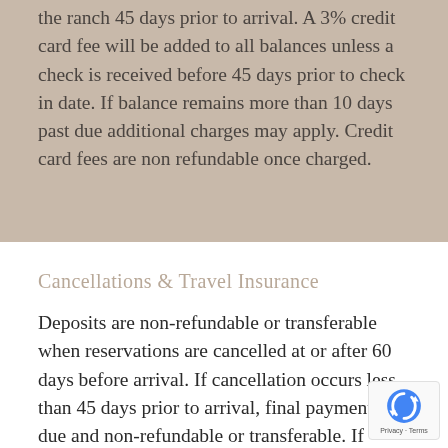the ranch 45 days prior to arrival. A 3% credit card fee will be added to all balances unless a check is received before 45 days prior to check in date. If balance remains more than 10 days past due additional charges may apply. Credit card fees are non refundable once charged.
Cancellations & Travel Insurance
Deposits are non-refundable or transferable when reservations are cancelled at or after 60 days before arrival. If cancellation occurs less than 45 days prior to arrival, final payment is due and non-refundable or transferable. If